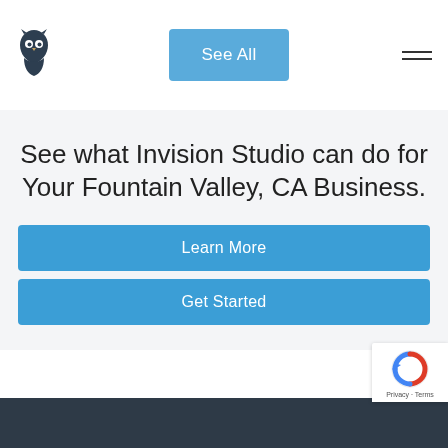[Figure (logo): Invision Studio owl logo — dark navy owl silhouette]
See All
[Figure (illustration): Hamburger menu icon — two horizontal lines]
See what Invision Studio can do for Your Fountain Valley, CA Business.
Learn More
Get Started
[Figure (other): Google reCAPTCHA badge with Privacy and Terms links]